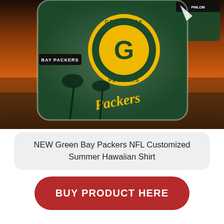[Figure (photo): Product photo of Green Bay Packers NFL Hawaiian shirt displayed on a beach sunset background. The shirt features the Packers logo, team colors (green and gold), with 'BAY PACKERS' text visible and palm tree silhouettes. A second smaller image of shorts is shown in the top right corner.]
NEW Green Bay Packers NFL Customized Summer Hawaiian Shirt
BUY PRODUCT HERE